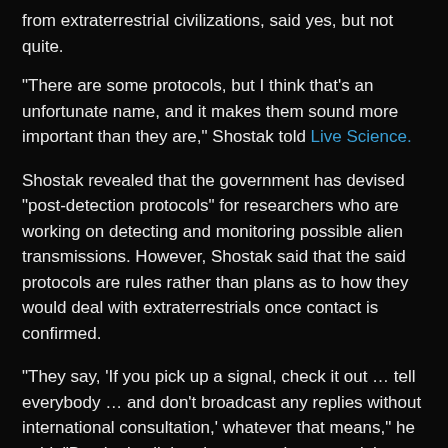from extraterrestrial civilizations, said yes, but not quite.
“There are some protocols, but I think that’s an unfortunate name, and it makes them sound more important than they are,” Shostak told Live Science.
Shostak revealed that the government has devised “post-detection protocols” for researchers who are working on detecting and monitoring possible alien transmissions. However, Shostak said that the said protocols are rules rather than plans as to how they would deal with extraterrestrials once contact is confirmed.
“They say, ‘If you pick up a signal, check it out … tell everybody … and don’t broadcast any replies without international consultation,’ whatever that means,” he said. “But that’s all that the protocols say, and they have no force of law. The United Nations took a copy of the early protocols and put them in a file drawer somewhere, and that’s as official as they ever got.”
Researchers or scientists are required to report signals from aliens but there is no government policy stating the plans and establishing